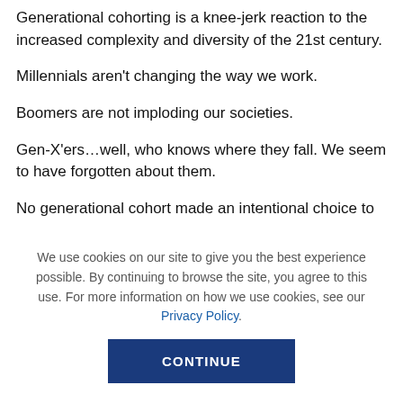Generational cohorting is a knee-jerk reaction to the increased complexity and diversity of the 21st century.
Millennials aren't changing the way we work.
Boomers are not imploding our societies.
Gen-X'ers…well, who knows where they fall. We seem to have forgotten about them.
No generational cohort made an intentional choice to
We use cookies on our site to give you the best experience possible. By continuing to browse the site, you agree to this use. For more information on how we use cookies, see our Privacy Policy.
CONTINUE